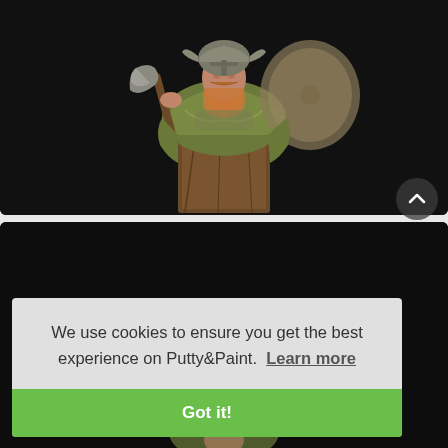[Figure (photo): A painted miniature bust of a Viking warrior holding an axe, wearing a helmet, green cloak, and chain mail, mounted on a wooden pedestal, photographed against a dark background.]
[Figure (photo): Partial view of another painted miniature figure against a dark background, mostly obscured by the cookie consent banner.]
We use cookies to ensure you get the best experience on Putty&Paint.  Learn more
Got it!